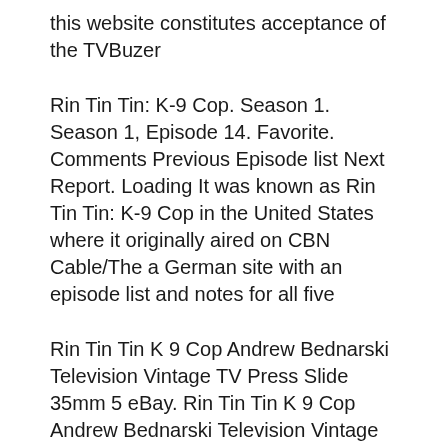this website constitutes acceptance of the TVBuzer
Rin Tin Tin: K-9 Cop. Season 1. Season 1, Episode 14. Favorite. Comments Previous Episode list Next Report. Loading It was known as Rin Tin Tin: K-9 Cop in the United States where it originally aired on CBN Cable/The a German site with an episode list and notes for all five
Rin Tin Tin K 9 Cop Andrew Bednarski Television Vintage TV Press Slide 35mm 5 eBay. Rin Tin Tin K 9 Cop Andrew Bednarski Television Vintage TV Press Slide 35mm 5 After Hank is shot, he decides to adopt Stevie so they can